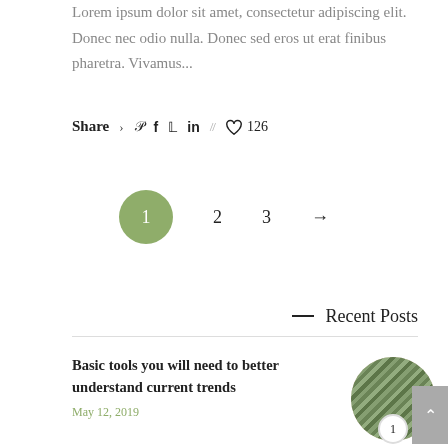Lorem ipsum dolor sit amet, consectetur adipiscing elit. Donec nec odio nulla. Donec sed eros ut erat finibus pharetra. Vivamus...
Share > ♟ f 𝕏 in // ♡ 126
1  2  3  →
— Recent Posts
Basic tools you will need to better understand current trends
May 12, 2019